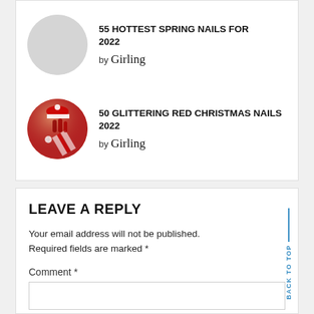55 HOTTEST SPRING NAILS FOR 2022
by Girling
[Figure (photo): Gray circle placeholder thumbnail for spring nails article]
50 GLITTERING RED CHRISTMAS NAILS 2022
by Girling
[Figure (photo): Circular thumbnail showing red Christmas nail art with candy cane and holiday decorations]
LEAVE A REPLY
Your email address will not be published. Required fields are marked *
Comment *